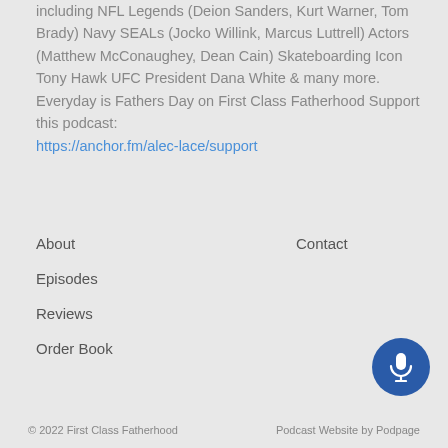including NFL Legends (Deion Sanders, Kurt Warner, Tom Brady) Navy SEALs (Jocko Willink, Marcus Luttrell) Actors (Matthew McConaughey, Dean Cain) Skateboarding Icon Tony Hawk UFC President Dana White & many more. Everyday is Fathers Day on First Class Fatherhood Support this podcast: https://anchor.fm/alec-lace/support
About
Episodes
Reviews
Order Book
Contact
[Figure (other): Blue circular microphone button icon]
© 2022 First Class Fatherhood    Podcast Website by Podpage